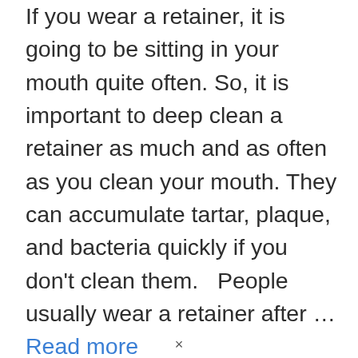If you wear a retainer, it is going to be sitting in your mouth quite often. So, it is important to deep clean a retainer as much and as often as you clean your mouth. They can accumulate tartar, plaque, and bacteria quickly if you don't clean them.  People usually wear a retainer after … Read more